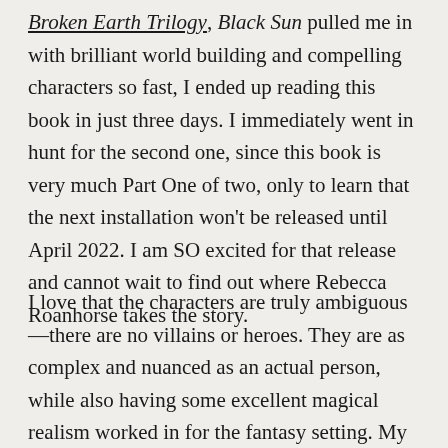Broken Earth Trilogy, Black Sun pulled me in with brilliant world building and compelling characters so fast, I ended up reading this book in just three days. I immediately went in hunt for the second one, since this book is very much Part One of two, only to learn that the next installation won't be released until April 2022. I am SO excited for that release and cannot wait to find out where Rebecca Roanhorse takes the story.
I love that the characters are truly ambiguous—there are no villains or heroes. They are as complex and nuanced as an actual person, while also having some excellent magical realism worked in for the fantasy setting. My favourite character is the very cool pansexual seawitch ship's captain. What is